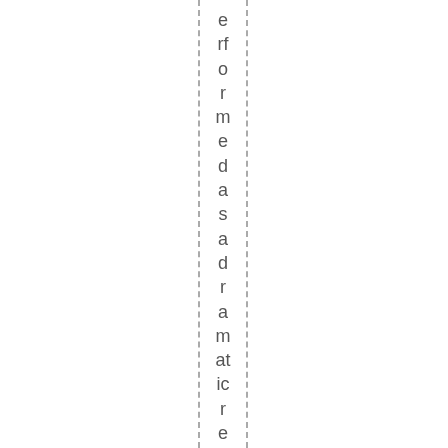erformed as a dramatic reading Marc